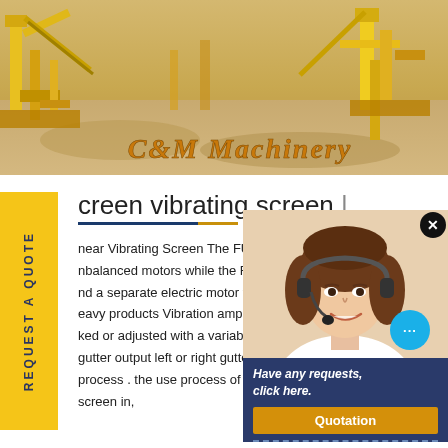[Figure (photo): Aerial view of a mining/quarrying site with yellow heavy machinery and equipment. C&M Machinery logo text overlaid at bottom right.]
screen vibrating screen |
near Vibrating Screen The FUFB d
nbalanced motors while the FRFB o
nd a separate electric motor for hig
eavy products Vibration amplitude c
ked or adjusted with a variable freq
gutter output left or right gutter outpu
process . the use process of plastic
screen in,
[Figure (photo): Customer service agent (smiling woman with headset) with chat interface overlay showing 'Have any requests, click here.' and Quotation button on dark blue background.]